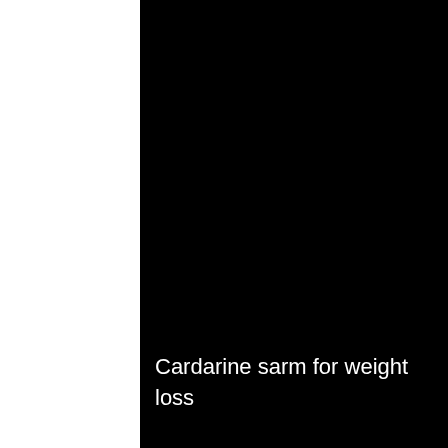[Figure (photo): Dark/black background image filling most of the page]
Cardarine sarm for weight loss